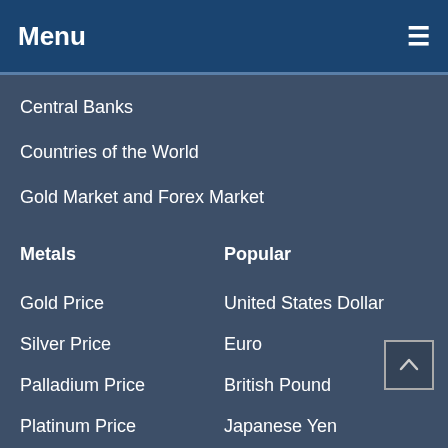Menu
Central Banks
Countries of the World
Gold Market and Forex Market
Metals
Popular
Gold Price
United States Dollar
Silver Price
Euro
Palladium Price
British Pound
Platinum Price
Japanese Yen
Brent Oil Price
Chinese Yuan
WTI Oil Price
Canadian Dollar